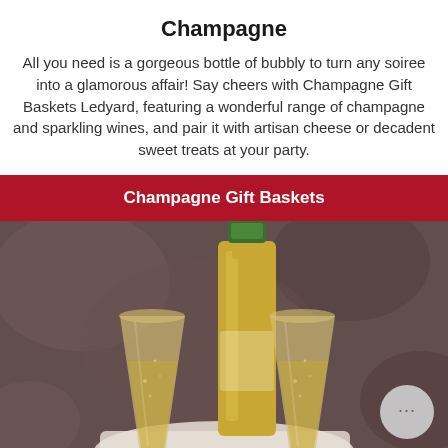Champagne
All you need is a gorgeous bottle of bubbly to turn any soiree into a glamorous affair! Say cheers with Champagne Gift Baskets Ledyard, featuring a wonderful range of champagne and sparkling wines, and pair it with artisan cheese or decadent sweet treats at your party.
Champagne Gift Baskets
[Figure (photo): Champagne flutes being clinked together with a golden champagne bottle in the background, set against a dark grey mottled backdrop. A white cloth is visible at the base.]